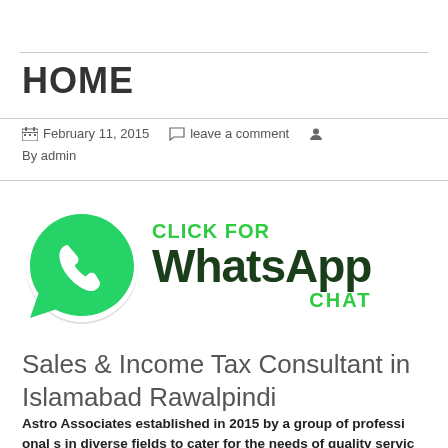HOME
February 11, 2015    leave a comment    By admin
[Figure (illustration): WhatsApp logo with green speech bubble and phone icon, with text 'CLICK FOR WhatsApp CHAT' in green and dark green]
Sales & Income Tax Consultant in Islamabad Rawalpindi
Astro Associates established in 2015 by a group of professionals in diverse fields to cater for the needs of quality service...